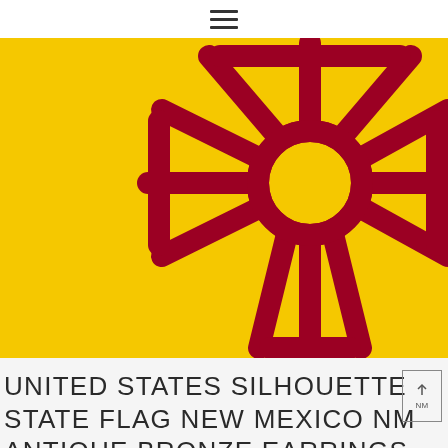≡
[Figure (illustration): New Mexico state flag showing the Zia sun symbol in dark red/crimson on a golden yellow background. The Zia symbol features a circle with four groups of rays extending in four cardinal directions.]
UNITED STATES SILHOUETTE STATE FLAG NEW MEXICO NM ANTIQUE BRONZE EARRINGS